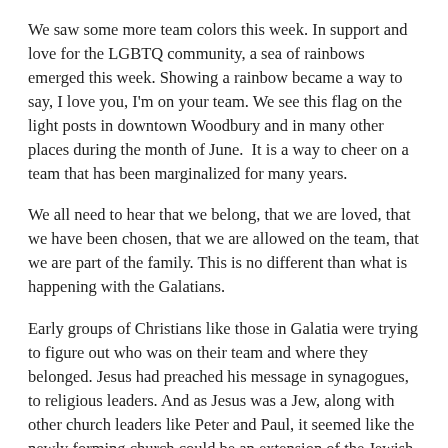We saw some more team colors this week. In support and love for the LGBTQ community, a sea of rainbows emerged this week. Showing a rainbow became a way to say, I love you, I'm on your team. We see this flag on the light posts in downtown Woodbury and in many other places during the month of June.  It is a way to cheer on a team that has been marginalized for many years.
We all need to hear that we belong, that we are loved, that we have been chosen, that we are allowed on the team, that we are part of the family. This is no different than what is happening with the Galatians.
Early groups of Christians like those in Galatia were trying to figure out who was on their team and where they belonged. Jesus had preached his message in synagogues, to religious leaders. And as Jesus was a Jew, along with other church leaders like Peter and Paul, it seemed like the newly forming church could be an extension of the Jewish faith.
But there were the Gentiles, or Greeks. These people did not follow the Torah, or law. Yet they were being drawn to the message of Jesus, which was a new thing, and they were being saved.